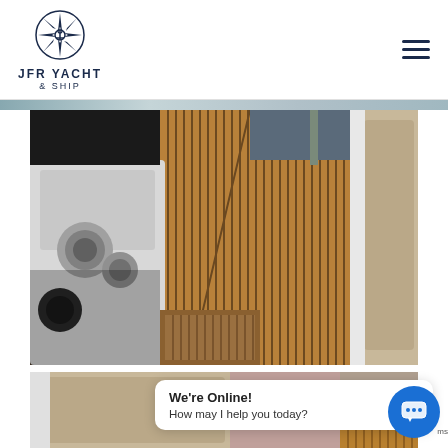JFR Yacht & Ship — navigation header with logo and hamburger menu
[Figure (photo): Interior of a boat deck showing teak wood flooring with parallel slats, white fiberglass console with cup holders and chrome fittings, beige upholstered seating on the right side, and a wooden forward section visible in the background.]
[Figure (photo): Partial view of boat interior showing beige/tan upholstered seating and a wooden teak surface in the lower right corner.]
We're Online!
How may I help you today?